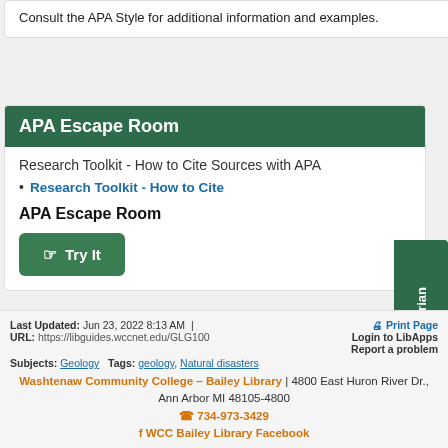Consult the APA Style for additional information and examples.
APA Escape Room
Research Toolkit - How to Cite Sources with APA
Research Toolkit - How to Cite
APA Escape Room
Try It
Ask a Librarian
Last Updated: Jun 23, 2022 8:13 AM | URL: https://libguides.wccnet.edu/GLG100 | Print Page Login to LibApps Report a problem Subjects: Geology Tags: geology, Natural disasters Washtenaw Community College – Bailey Library | 4800 East Huron River Dr., Ann Arbor MI 48105-4800 734-973-3429 WCC Bailey Library Facebook